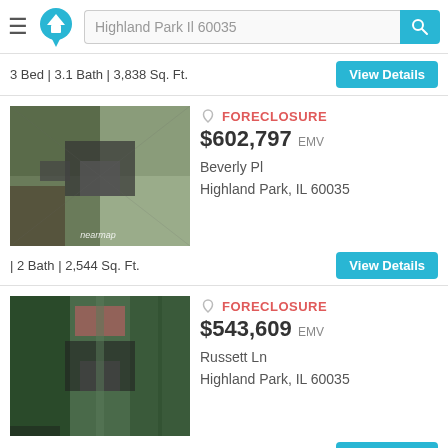Highland Park Il 60035
3 Bed | 3.1 Bath | 3,838 Sq. Ft.
[Figure (photo): Aerial/satellite view of a property in Highland Park, IL with nearmap watermark]
FORECLOSURE $602,797 EMV
Beverly Pl
Highland Park, IL 60035
| 2 Bath | 2,544 Sq. Ft.
[Figure (photo): Aerial/satellite view of a second property in Highland Park, IL]
FORECLOSURE $543,609 EMV
Russett Ln
Highland Park, IL 60035
| 2.5 Bath | 1,756 Sq. Ft.